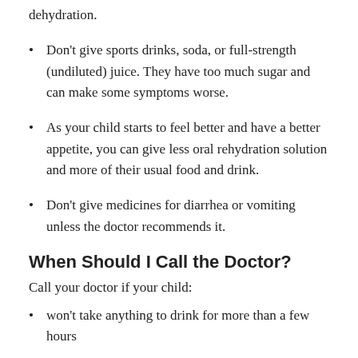dehydration.
Don't give sports drinks, soda, or full-strength (undiluted) juice. They have too much sugar and can make some symptoms worse.
As your child starts to feel better and have a better appetite, you can give less oral rehydration solution and more of their usual food and drink.
Don't give medicines for diarrhea or vomiting unless the doctor recommends it.
When Should I Call the Doctor?
Call your doctor if your child:
won't take anything to drink for more than a few hours